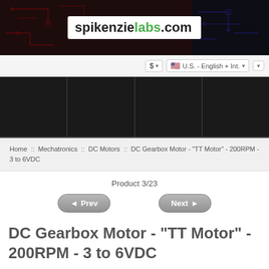[Figure (logo): Spikenzielabs.com logo on dark circuit board background banner]
$ ▾   🇺🇸 U.S. - English + Int. ▾   ▾
[Figure (other): Dark navigation bar with 4 menu item columns]
Home :: Mechatronics :: DC Motors :: DC Gearbox Motor - "TT Motor" - 200RPM - 3 to 6VDC
Product 3/23
◄ Prev   Next ►
DC Gearbox Motor - "TT Motor" - 200RPM - 3 to 6VDC